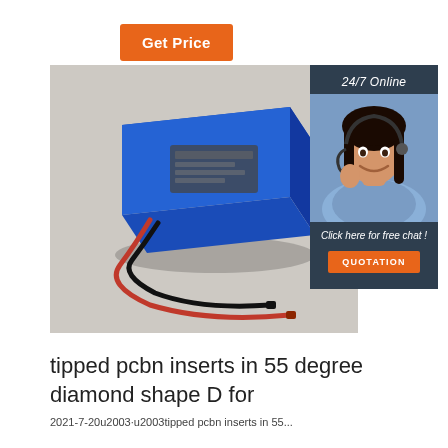[Figure (other): Orange 'Get Price' button]
[Figure (photo): Blue rectangular lithium battery pack with red and black wires on a grey background]
[Figure (photo): 24/7 Online chat widget showing a woman with headset, 'Click here for free chat!' text and QUOTATION orange button]
tipped pcbn inserts in 55 degree diamond shape D for
2021-7-20u2003·u2003tipped pcbn inserts in 55...